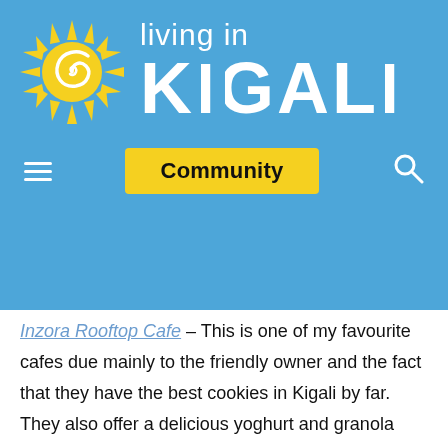[Figure (logo): Living in Kigali website header logo with sun graphic and blue background, showing navigation bar with hamburger menu, Community button, and search icon]
Inzora Rooftop Cafe – This is one of my favourite cafes due mainly to the friendly owner and the fact that they have the best cookies in Kigali by far. They also offer a delicious yoghurt and granola breakfast option and the hot chocolate is another of my favourites. This place is busy so get there early to snag a seat and be warned that, if it's sunny out, it can get really hot. There's a small kiddie's play area